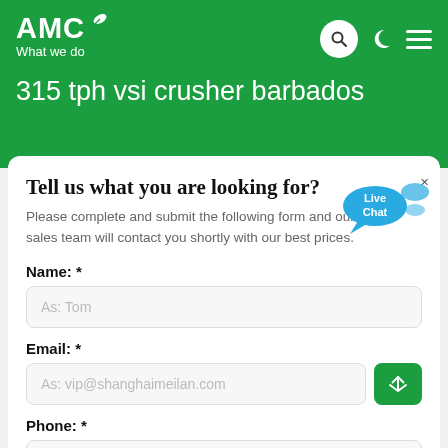AMC — What we do
315 tph vsi crusher barbados
Tell us what you are looking for?
Please complete and submit the following form and our sales team will contact you shortly with our best prices.
Name: *
As: Tom
Email: *
As: vip@shanghaimeilan.com
Phone: *
With Country Code